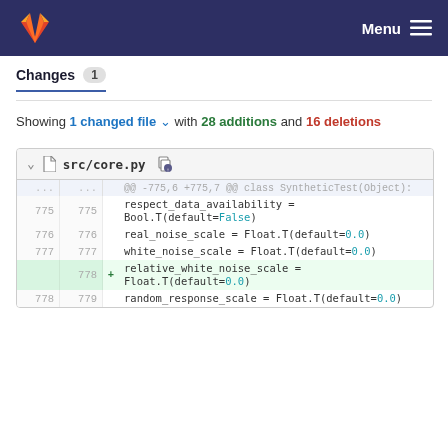Menu
Changes 1
Showing 1 changed file with 28 additions and 16 deletions
src/core.py
| old | new | +/- | code |
| --- | --- | --- | --- |
| ... | ... |  | @@ -775,6 +775,7 @@ class SyntheticTest(Object): |
| 775 | 775 |  |     respect_data_availability = Bool.T(default=False) |
| 776 | 776 |  |     real_noise_scale = Float.T(default=0.0) |
| 777 | 777 |  |     white_noise_scale = Float.T(default=0.0) |
|  | 778 | + |     relative_white_noise_scale = Float.T(default=0.0) |
| 778 | 779 |  |     random_response_scale = Float.T(default=0.0) |